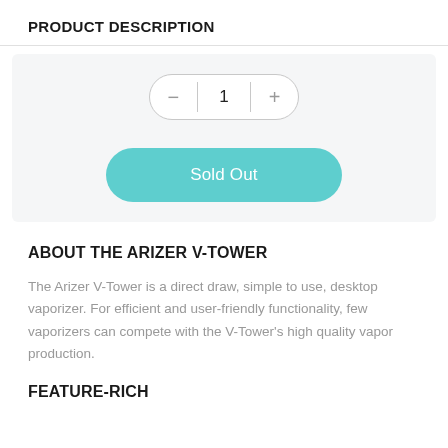PRODUCT DESCRIPTION
[Figure (screenshot): Product quantity selector UI showing minus button, quantity '1', plus button in a pill-shaped control, and a teal 'Sold Out' button below, on a light gray background.]
ABOUT THE ARIZER V-TOWER
The Arizer V-Tower is a direct draw, simple to use, desktop vaporizer. For efficient and user-friendly functionality, few vaporizers can compete with the V-Tower's high quality vapor production.
FEATURE-RICH